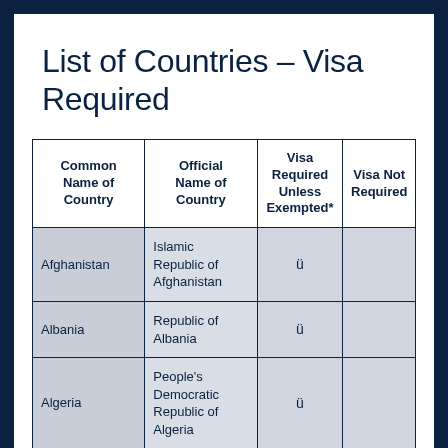List of Countries – Visa Required
| Common Name of Country | Official Name of Country | Visa Required Unless Exempted* | Visa Not Required |
| --- | --- | --- | --- |
| Afghanistan | Islamic Republic of Afghanistan | ü |  |
| Albania | Republic of Albania | ü |  |
| Algeria | People's Democratic Republic of Algeria | ü |  |